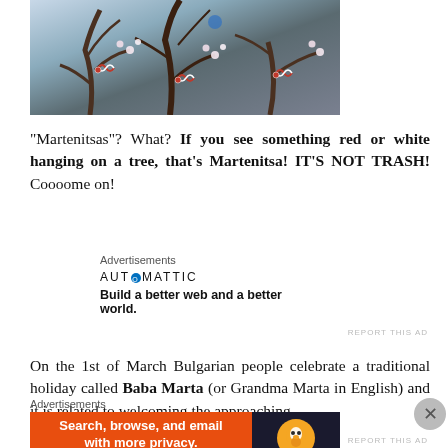[Figure (photo): Photo of tree branches with red and white Martenitsa decorations tied to them, blossoming white flowers visible in the background.]
“Martenitsas”? What? If you see something red or white hanging on a tree, that’s Martenitsa! IT’S NOT TRASH! Coooome on!
Advertisements
[Figure (screenshot): Automattic advertisement: logo reading AUT⊙MATTIC, tagline ‘Build a better web and a better world.’]
REPORT THIS AD
On the 1st of March Bulgarian people celebrate a traditional holiday called Baba Marta (or Grandma Marta in English) and it is related to welcoming the approaching
Advertisements
[Figure (screenshot): DuckDuckGo advertisement: orange background with text ‘Search, browse, and email with more privacy. All in One Free App’ and DuckDuckGo logo on dark background.]
REPORT THIS AD